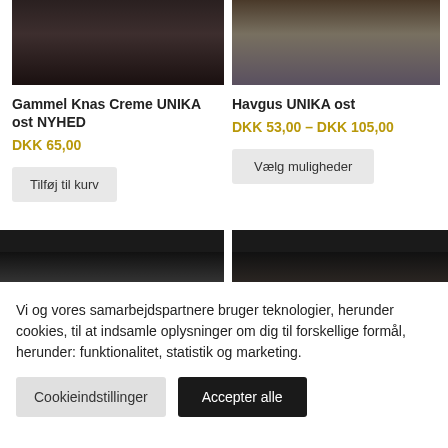[Figure (photo): Product photo of Gammel Knas Creme UNIKA ost - dark background with cheese]
[Figure (photo): Product photo of Havgus UNIKA ost - stone background with yellow/orange cheese wedge]
Gammel Knas Creme UNIKA ost NYHED
Havgus UNIKA ost
DKK 65,00
DKK 53,00 – DKK 105,00
Tilføj til kurv
Vælg muligheder
[Figure (photo): Partial product photo strip - dark]
[Figure (photo): Partial product photo strip - dark right side]
Vi og vores samarbejdspartnere bruger teknologier, herunder cookies, til at indsamle oplysninger om dig til forskellige formål, herunder: funktionalitet, statistik og marketing.
Cookieindstillinger
Accepter alle